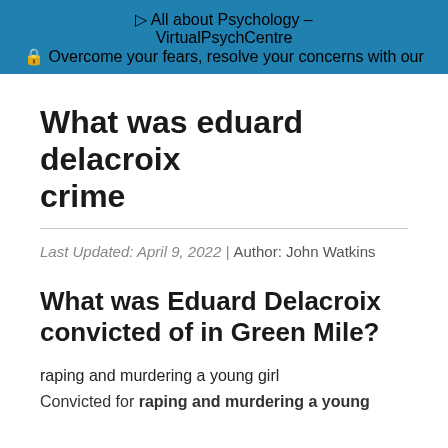▷ All about Psychology – VirtualPsychCentre
🔒 Overcome your fears, resolve your concerns with our
What was eduard delacroix crime
Last Updated: April 9, 2022 | Author: John Watkins
What was Eduard Delacroix convicted of in Green Mile?
raping and murdering a young girl
Convicted for raping and murdering a young